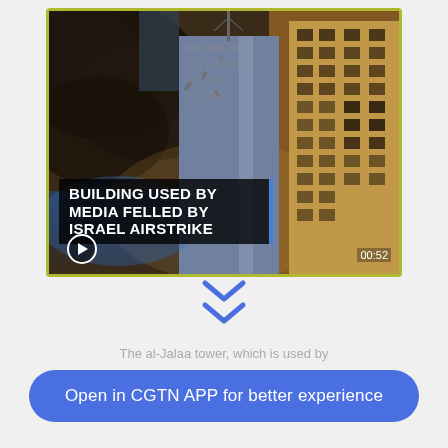[Figure (screenshot): Video thumbnail showing a building being struck by an airstrike, with smoke and fire visible. White bold text overlay reads 'BUILDING USED BY MEDIA FELLED BY ISRAEL AIRSTRIKE'. Duration shows 00:52. Play button visible. This is a CGTN news video screenshot.]
The al-Jalaa tower, which is used by
Open in CGTN APP for better experience